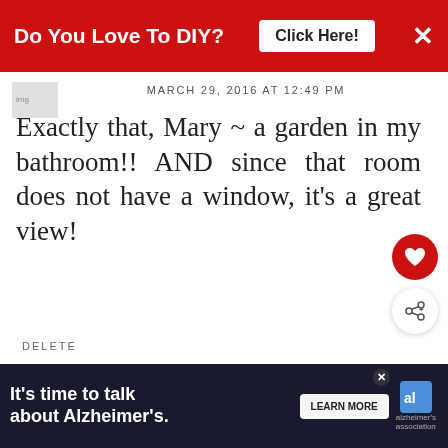[Figure (screenshot): Red ad banner at top: 'Do You Love To DIY? Click Here!' with X close button]
MARCH 29, 2016 AT 12:49 PM
Exactly that, Mary ~ a garden in my bathroom!! AND since that room does not have a window, it's a great view!
DELETE
REPLY
Deb @ Frugal Little Bungalow
MARCH 30, 2016 AT 11:32 AM
[Figure (screenshot): WHAT'S NEXT arrow label with Totally Transformed... thumbnail]
[Figure (screenshot): Bottom ad banner: It's time to talk about Alzheimer's. Learn More button. Alzheimer's association logo.]